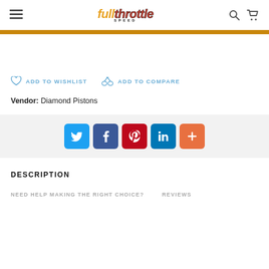Full Throttle [logo] — navigation header with hamburger menu, search, and cart icons
ADD TO WISHLIST   ADD TO COMPARE
Vendor:  Diamond Pistons
[Figure (infographic): Social sharing buttons: Twitter (blue), Facebook (dark blue), Pinterest (red), LinkedIn (blue), More/Plus (orange)]
DESCRIPTION
NEED HELP MAKING THE RIGHT CHOICE?   REVIEWS